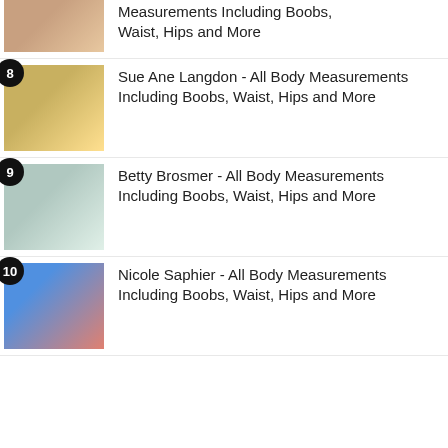Measurements Including Boobs, Waist, Hips and More
Sue Ane Langdon - All Body Measurements Including Boobs, Waist, Hips and More
Betty Brosmer - All Body Measurements Including Boobs, Waist, Hips and More
Nicole Saphier - All Body Measurements Including Boobs, Waist, Hips and More